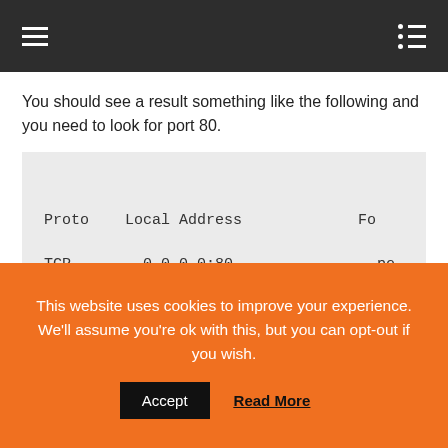Navigation header bar with hamburger menu and list icon
You should see a result something like the following and you need to look for port 80.
[Figure (screenshot): Code/terminal output box showing Proto, Local Address, Fo columns with TCP 0.0.0.0:80 row and [java.exe] entry]
This website uses cookies to improve your experience. We'll assume you're ok with this, but you can opt-out if you wish.